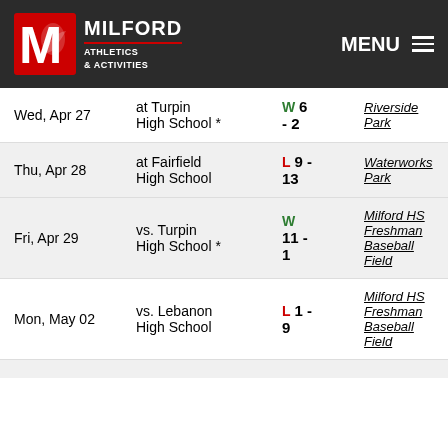MILFORD ATHLETICS & ACTIVITIES — MENU
| Date | Opponent | Result | Location |
| --- | --- | --- | --- |
| Wed, Apr 27 | at Turpin High School * | W 6 - 2 | Riverside Park |
| Thu, Apr 28 | at Fairfield High School | L 9 - 13 | Waterworks Park |
| Fri, Apr 29 | vs. Turpin High School * | W 11 - 1 | Milford HS Freshman Baseball Field |
| Mon, May 02 | vs. Lebanon High School | L 1 - 9 | Milford HS Freshman Baseball Field |